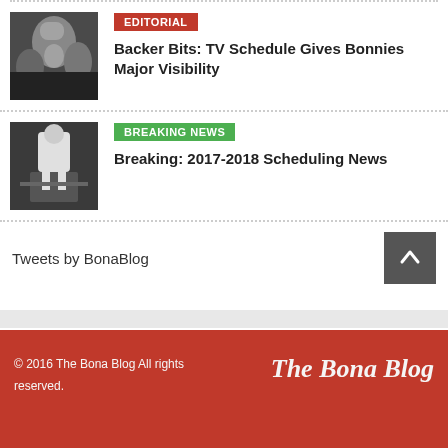[Figure (photo): Crowd photo with mascot, basketball event]
EDITORIAL
Backer Bits: TV Schedule Gives Bonnies Major Visibility
[Figure (photo): Basketball player near court, seen from behind]
BREAKING NEWS
Breaking: 2017-2018 Scheduling News
Tweets by BonaBlog
© 2016 The Bona Blog All rights reserved.    The Bona Blog